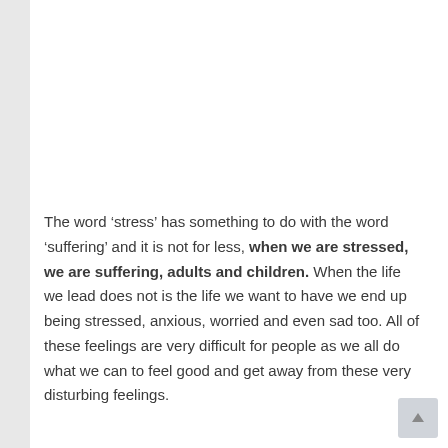The word ‘stress’ has something to do with the word ‘suffering’ and it is not for less, when we are stressed, we are suffering, adults and children. When the life we lead does not is the life we want to have we end up being stressed, anxious, worried and even sad too. All of these feelings are very difficult for people as we all do what we can to feel good and get away from these very disturbing feelings.